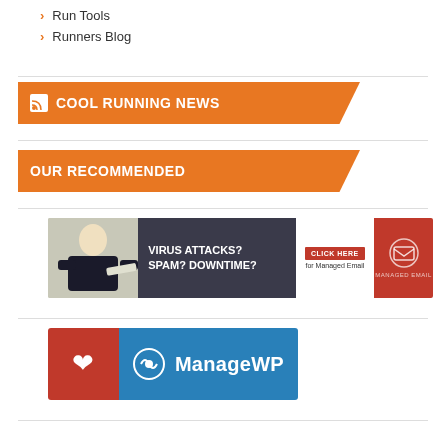Run Tools
Runners Blog
COOL RUNNING NEWS
OUR RECOMMENDED
[Figure (screenshot): Advertisement banner: VIRUS ATTACKS? SPAM? DOWNTIME? Click here for Managed Email]
[Figure (logo): I Love ManageWP banner logo]